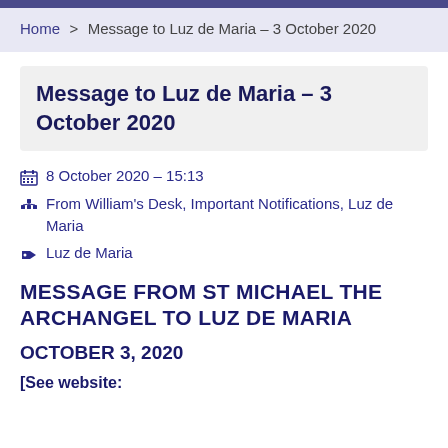Home > Message to Luz de Maria – 3 October 2020
Message to Luz de Maria – 3 October 2020
📅 8 October 2020 – 15:13
🏢 From William's Desk, Important Notifications, Luz de Maria
🏷 Luz de Maria
MESSAGE FROM ST MICHAEL THE ARCHANGEL TO LUZ DE MARIA
OCTOBER 3, 2020
[See website: